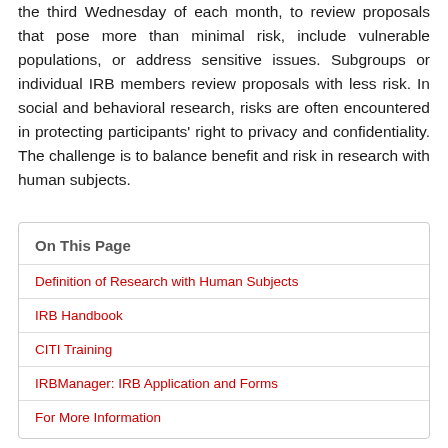the third Wednesday of each month, to review proposals that pose more than minimal risk, include vulnerable populations, or address sensitive issues. Subgroups or individual IRB members review proposals with less risk. In social and behavioral research, risks are often encountered in protecting participants' right to privacy and confidentiality. The challenge is to balance benefit and risk in research with human subjects.
On This Page
Definition of Research with Human Subjects
IRB Handbook
CITI Training
IRBManager: IRB Application and Forms
For More Information